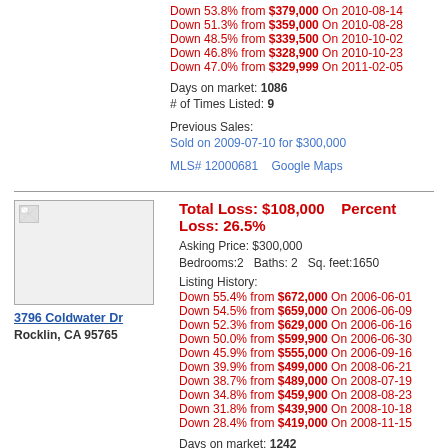Down 53.8% from $379,000 On 2010-08-14
Down 51.3% from $359,000 On 2010-08-28
Down 48.5% from $339,500 On 2010-10-02
Down 46.8% from $328,900 On 2010-10-23
Down 47.0% from $329,999 On 2011-02-05
Days on market: 1086
# of Times Listed: 9
Previous Sales:
Sold on 2009-07-10 for $300,000
MLS# 12000681    Google Maps
Total Loss: $108,000    Percent Loss: 26.5%
Asking Price: $300,000
Bedrooms:2   Baths: 2   Sq. feet:1650
Listing History:
Down 55.4% from $672,000 On 2006-06-01
Down 54.5% from $659,000 On 2006-06-09
Down 52.3% from $629,000 On 2006-06-16
Down 50.0% from $599,900 On 2006-06-30
Down 45.9% from $555,000 On 2006-09-16
Down 39.9% from $499,000 On 2008-06-21
Down 38.7% from $489,000 On 2008-07-19
Down 34.8% from $459,900 On 2008-08-23
Down 31.8% from $439,900 On 2008-10-18
Down 28.4% from $419,000 On 2008-11-15
Days on market: 1242
# of Times Listed: 6
3796 Coldwater Dr
Rocklin, CA 95765